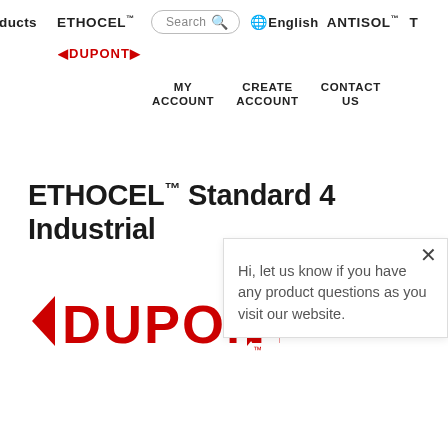ducts  ETHOCEL™  Search  PO  English  ANTISOL™  T
[Figure (logo): DuPont logo small, red with arrows, in header]
MY ACCOUNT   CREATE ACCOUNT   CONTACT US
ETHOCEL™ Standard 4 Industrial
[Figure (logo): DuPont logo large red in main content area]
Hi, let us know if you have any product questions as you visit our website.